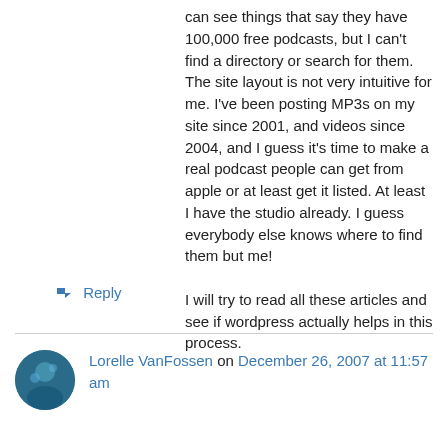can see things that say they have 100,000 free podcasts, but I can't find a directory or search for them. The site layout is not very intuitive for me. I've been posting MP3s on my site since 2001, and videos since 2004, and I guess it's time to make a real podcast people can get from apple or at least get it listed. At least I have the studio already. I guess everybody else knows where to find them but me!

I will try to read all these articles and see if wordpress actually helps in this process.
↳ Reply
Lorelle VanFossen on December 26, 2007 at 11:57 am